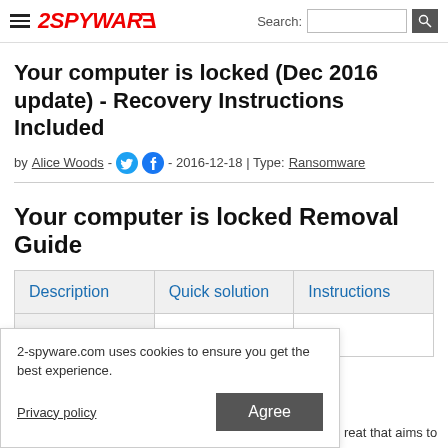2SPYWARE — Search bar
Your computer is locked (Dec 2016 update) - Recovery Instructions Included
by Alice Woods - 2016-12-18 | Type: Ransomware
Your computer is locked Removal Guide
| Description | Quick solution | Instructions |
| Prevention |  |  |
2-spyware.com uses cookies to ensure you get the best experience.
Privacy policy
Agree
reat that aims to